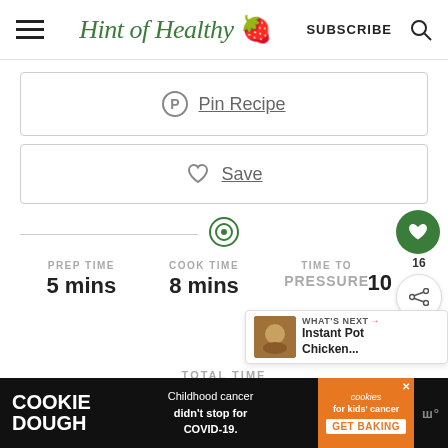Hint of Healthy 🍓 | SUBSCRIBE
Pin Recipe
Save
PREP TIME 5 mins | COOK TIME 8 mins | TIME TO PRESSURE
TOTAL TIME
[Figure (infographic): Floating heart button with count 16 and share button on the right side. 'WHAT'S NEXT → Instant Pot Chicken...' panel with a food photo.]
COOKIE DOUGH — Childhood cancer didn't stop for COVID-19. | cookies for kids' cancer GET BAKING